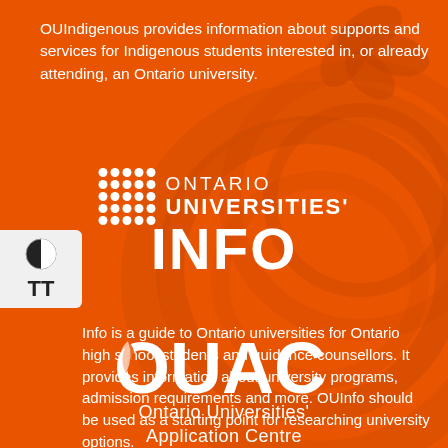OUIndigenous provides information about supports and services for Indigenous students interested in, or already attending, an Ontario university.
[Figure (logo): Ontario Universities' Info logo with dot grid and bold text reading ONTARIO UNIVERSITIES' INFO in white on orange background]
Info is a guide to Ontario universities for Ontario high school students and guidance counsellors. It provides information about university programs, admission requirements and more. OUInfo should be used as a starting point for researching university options.
[Figure (logo): OUAC Ontario Universities' Application Centre logo in white on orange background]